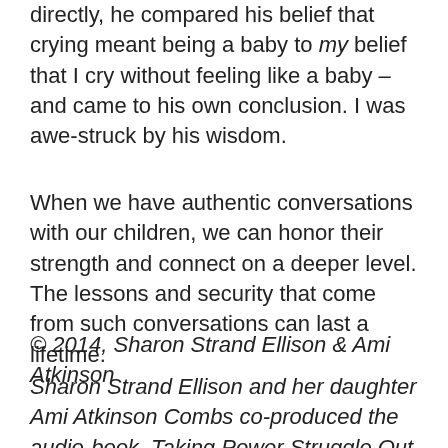directly, he compared his belief that crying meant being a baby to my belief that I cry without feeling like a baby – and came to his own conclusion. I was awe-struck by his wisdom.
When we have authentic conversations with our children, we can honor their strength and connect on a deeper level. The lessons and security that come from such conversations can last a lifetime.
© 2014, Sharon Strand Ellison & Ami Atkinson
Sharon Strand Ellison and her daughter Ami Atkinson Combs co-produced the audio-book, Taking Power Struggle Out of Parenting, winner of a Benjamin Franklin Award. Sharon and Ami offer workshops and webinars for parents and training programs for